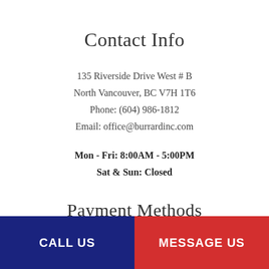Contact Info
135 Riverside Drive West # B
North Vancouver, BC V7H 1T6
Phone: (604) 986-1812
Email: office@burrardinc.com
Mon - Fri: 8:00AM - 5:00PM
Sat & Sun: Closed
Payment Methods
[Figure (illustration): Visa and Mastercard payment method icons]
CALL US  |  MESSAGE US